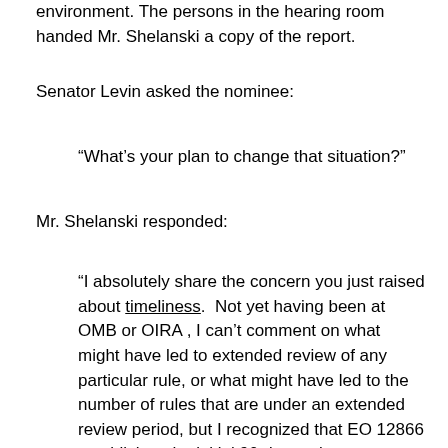environment. The persons in the hearing room handed Mr. Shelanski a copy of the report.
Senator Levin asked the nominee:
“What’s your plan to change that situation?”
Mr. Shelanski responded:
“I absolutely share the concern you just raised about timeliness.  Not yet having been at OMB or OIRA , I can’t comment on what might have led to extended review of any particular rule, or what might have led to the number of rules that are under an extended review period, but I recognized that EO 12866 establishes the initial 90 day review process, and it would be one of my highest priorities, should I be confirmed as Administrator, to try to improve the timeliness, and the notice, and the certainty that lends